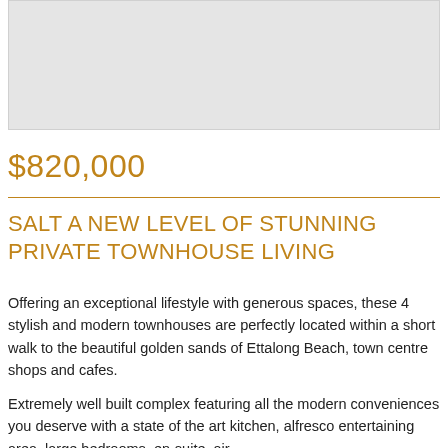[Figure (photo): Light grey placeholder image area at top of page]
$820,000
SALT A NEW LEVEL OF STUNNING PRIVATE TOWNHOUSE LIVING
Offering an exceptional lifestyle with generous spaces, these 4 stylish and modern townhouses are perfectly located within a short walk to the beautiful golden sands of Ettalong Beach, town centre shops and cafes.
Extremely well built complex featuring all the modern conveniences you deserve with a state of the art kitchen, alfresco entertaining area, large bedrooms, en-suite, air